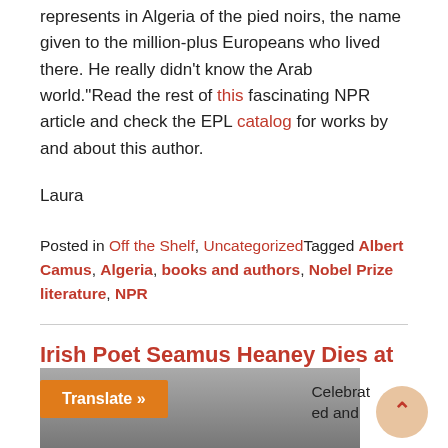represents in Algeria of the pied noirs, the name given to the million-plus Europeans who lived there. He really didn't know the Arab world.“Read the rest of this fascinating NPR article and check the EPL catalog for works by and about this author.
Laura
Posted in Off the Shelf, UncategorizedTagged Albert Camus, Algeria, books and authors, Nobel Prize literature, NPR
Irish Poet Seamus Heaney Dies at 74
August 30, 2013
[Figure (photo): Photo of Seamus Heaney, an elderly man with white/grey hair, at what appears to be a public event or reading]
Celebrated and